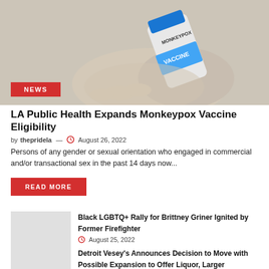[Figure (photo): Hand holding a vial labeled MONKEYPOX VACCINE]
LA Public Health Expands Monkeypox Vaccine Eligibility
by thepridela — August 26, 2022
Persons of any gender or sexual orientation who engaged in commercial and/or transactional sex in the past 14 days now...
READ MORE
Black LGBTQ+ Rally for Brittney Griner Ignited by Former Firefighter
August 25, 2022
Detroit Vesey's Announces Decision to Move with Possible Expansion to Offer Liquor, Larger